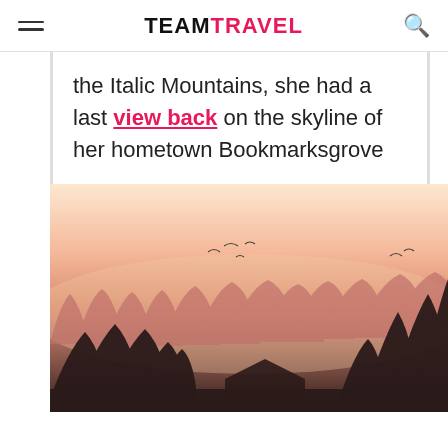TEAM TRAVEL
the Italic Mountains, she had a last view back on the skyline of her hometown Bookmarksgrove
[Figure (photo): Misty forest skyline at sunset with birds flying, warm pink and orange hues, dark tree silhouettes in the foreground and background layers]